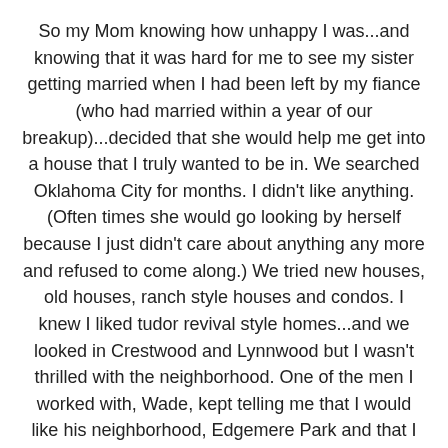So my Mom knowing how unhappy I was...and knowing that it was hard for me to see my sister getting married when I had been left by my fiance (who had married within a year of our breakup)...decided that she would help me get into a house that I truly wanted to be in. We searched Oklahoma City for months. I didn't like anything. (Often times she would go looking by herself because I just didn't care about anything any more and refused to come along.) We tried new houses, old houses, ranch style houses and condos. I knew I liked tudor revival style homes...and we looked in Crestwood and Lynnwood but I wasn't thrilled with the neighborhood. One of the men I worked with, Wade, kept telling me that I would like his neighborhood, Edgemere Park and that I should use his wife, Heather, who was a realtor.
Well, I was stupid and didn't want to bother her till I knew what I wanted for sure and what part of the city I wanted to live in but nothing was right. (in hindsight, I should have put Heather on the case immediately) Then one day, a realtor we'd run into suggested we look at a house in Edgemere Park. I told her I'd heard of the neighborhood but didn't know